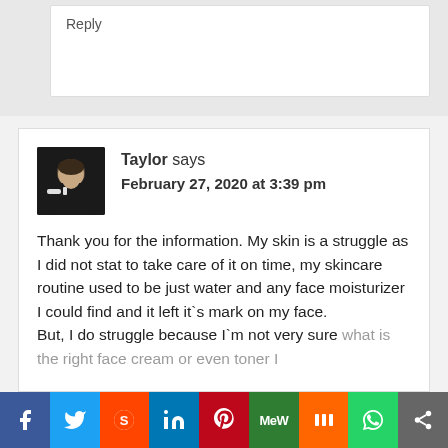Reply
Taylor says
February 27, 2020 at 3:39 pm
Thank you for the information. My skin is a struggle as I did not stat to take care of it on time, my skincare routine used to be just water and any face moisturizer I could find and it left it`s mark on my face.
But, I do struggle because I`m not very sure what is the right face cream or even toner I
[Figure (infographic): Social media sharing bar with icons for Facebook, Twitter, Reddit, LinkedIn, Pinterest, MeWe, Mix, WhatsApp, and Share]